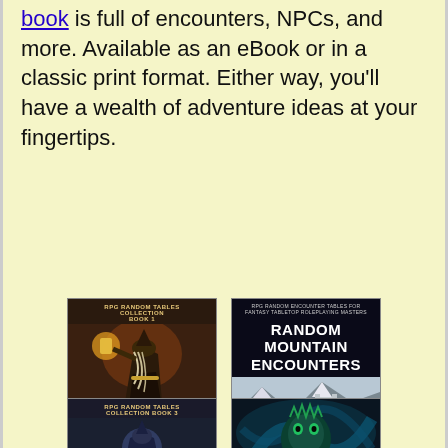book is full of encounters, NPCs, and more. Available as an eBook or in a classic print format. Either way, you'll have a wealth of adventure ideas at your fingertips.
[Figure (illustration): Book cover: Random Fantasy Tables I by Paul Bellow. Dark fantasy illustration of a wizard holding a lantern, with RPG Random Tables Collection Book 1 header text.]
[Figure (illustration): Book cover: Random Mountain Encounters by Paul Bellow. Black background with white title text and a fantasy mountain scene illustration.]
[Figure (illustration): Book cover (partial): RPG Random Tables Collection Book 3, partially visible at bottom of page.]
[Figure (illustration): Book cover (partial): Fantasy book with teal/green creature illustration, partially visible at bottom of page.]